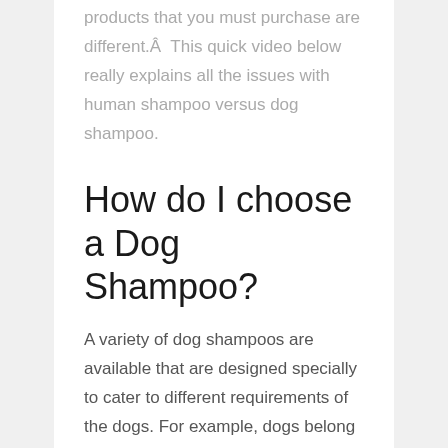products that you must purchase are different.Â  This quick video below really explains all the issues with human shampoo versus dog shampoo.
How do I choose a Dog Shampoo?
A variety of dog shampoos are available that are designed specially to cater to different requirements of the dogs. For example, dogs belong to various breeds that have different kinds of coat and fur.Â